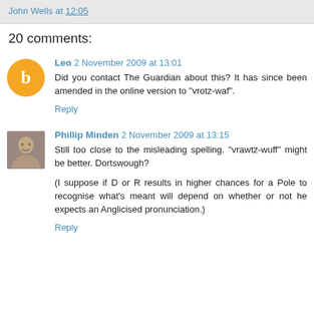John Wells at 12:05
20 comments:
Leo 2 November 2009 at 13:01
Did you contact The Guardian about this? It has since been amended in the online version to "vrotz-waf".
Reply
Phillip Minden 2 November 2009 at 13:15
Still too close to the misleading spelling. "vrawtz-wuff" might be better. Dortswough?

(I suppose if D or R results in higher chances for a Pole to recognise what's meant will depend on whether or not he expects an Anglicised pronunciation.)
Reply